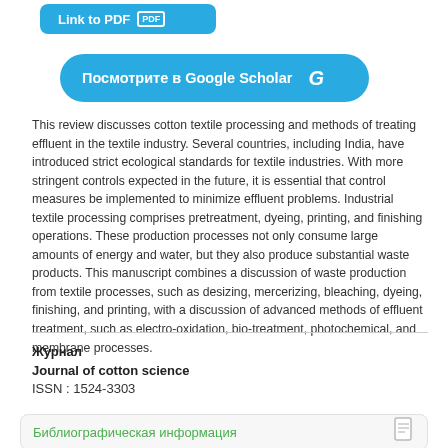[Figure (other): Blue rounded button labeled 'Link to PDF' with a PDF document icon]
[Figure (other): Blue rounded button labeled 'Посмотрите в Google Scholar' with Google G logo]
This review discusses cotton textile processing and methods of treating effluent in the textile industry. Several countries, including India, have introduced strict ecological standards for textile industries. With more stringent controls expected in the future, it is essential that control measures be implemented to minimize effluent problems. Industrial textile processing comprises pretreatment, dyeing, printing, and finishing operations. These production processes not only consume large amounts of energy and water, but they also produce substantial waste products. This manuscript combines a discussion of waste production from textile processes, such as desizing, mercerizing, bleaching, dyeing, finishing, and printing, with a discussion of advanced methods of effluent treatment, such as electro-oxidation, bio-treatment, photochemical, and membrane processes.
Журнал
Journal of cotton science
ISSN : 1524-3303
Библиографическая информация